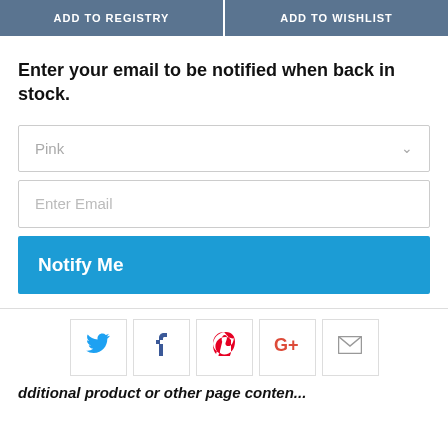[Figure (screenshot): Two buttons: ADD TO REGISTRY and ADD TO WISHLIST]
Enter your email to be notified when back in stock.
[Figure (screenshot): Dropdown selector showing 'Pink' with chevron arrow]
[Figure (screenshot): Email input field with placeholder 'Enter Email']
[Figure (screenshot): Blue 'Notify Me' button]
[Figure (screenshot): Social sharing icons: Twitter, Facebook, Pinterest, Google+, Email]
Additional product or other page content (partially visible)